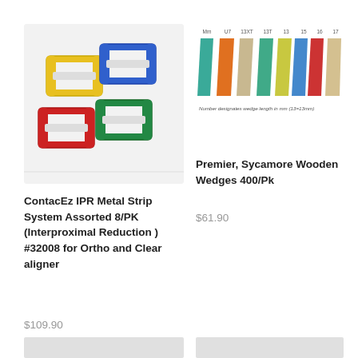[Figure (photo): ContacEz IPR Metal Strip System assorted colored C-shaped metal strips in blue, yellow, red, green]
ContacEz IPR Metal Strip System Assorted 8/PK (Interproximal Reduction ) #32008 for Ortho and Clear aligner
$109.90
[Figure (illustration): Premier Sycamore Wooden Wedges color chart showing 7 wedge sizes: Mm, U7, 13XT, 13T, 13, 15, 16, 17 in various colors with caption 'Number designates wedge length in mm (13=13mm)']
Premier, Sycamore Wooden Wedges 400/Pk
$61.90